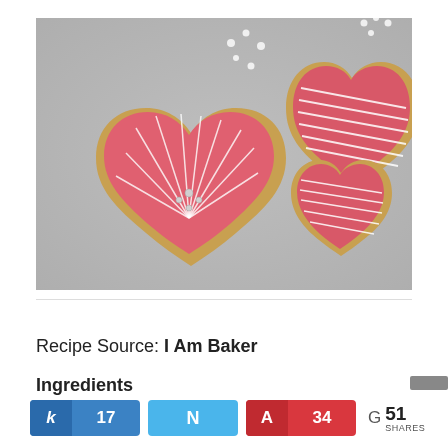[Figure (photo): Heart-shaped sugar cookies with pink royal icing, decorated with white piped designs including radiating lines and dots, with silver sugar pearls, arranged on a light surface.]
Recipe Source: I Am Baker
Ingredients
k 17  N  A 34  G 51 SHARES